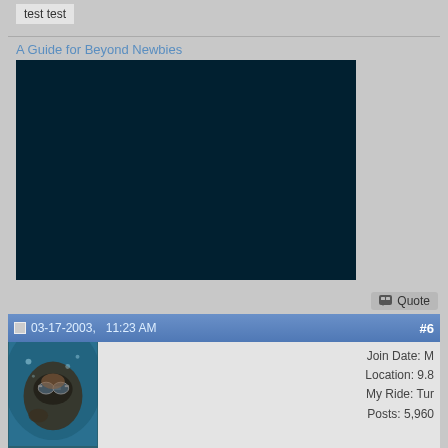test test
A Guide for Beyond Newbies
[Figure (other): Dark teal/black video embed placeholder rectangle]
Quote
03-17-2003,  11:23 AM  #6
[Figure (photo): Avatar photo of person snorkeling underwater with mask and goggles]
Join Date: M
Location: 9.8
My Ride: Tur
Posts: 5,960